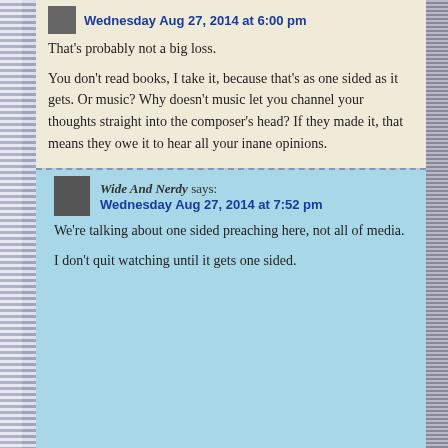Wednesday Aug 27, 2014 at 6:00 pm
That's probably not a big loss.
You don't read books, I take it, because that's as one sided as it gets. Or music? Why doesn't music let you channel your thoughts straight into the composer's head? If they made it, that means they owe it to hear all your inane opinions.
Wide And Nerdy says:
Wednesday Aug 27, 2014 at 7:52 pm
We're talking about one sided preaching here, not all of media.
I don't quit watching until it gets one sided.